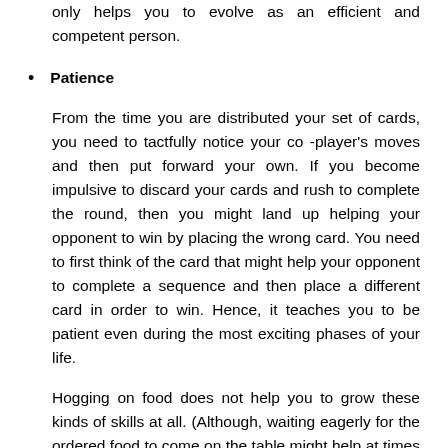only helps you to evolve as an efficient and competent person.
Patience
From the time you are distributed your set of cards, you need to tactfully notice your co -player's moves and then put forward your own. If you become impulsive to discard your cards and rush to complete the round, then you might land up helping your opponent to win by placing the wrong card. You need to first think of the card that might help your opponent to complete a sequence and then place a different card in order to win. Hence, it teaches you to be patient even during the most exciting phases of your life.
Hogging on food does not help you to grow these kinds of skills at all. (Although, waiting eagerly for the ordered food to come on the table might help at times too).